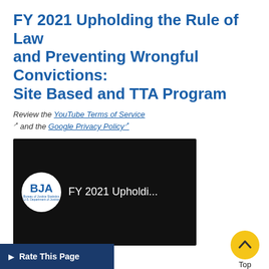FY 2021 Upholding the Rule of Law and Preventing Wrongful Convictions: Site Based and TTA Program
Review the YouTube Terms of Service and the Google Privacy Policy
[Figure (screenshot): Video thumbnail showing BJA logo and title 'FY 2021 Upholdi...' on black background]
February 2021
Series: Funding Webinar
During this January 2021 webinar, the presenter provided an overview of the FY 2021 Upholding the Rule of Law and Preventing Wrongful Convictions Training and Technical Assistance Pro... solicitation.